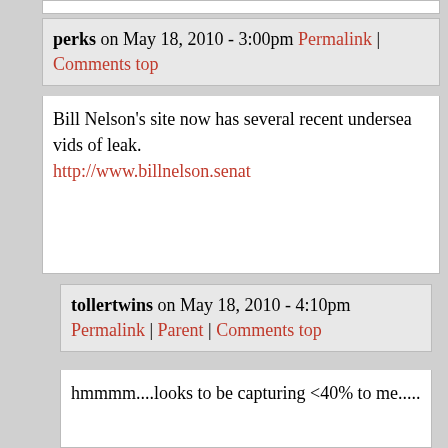perks on May 18, 2010 - 3:00pm Permalink | Comments top
Bill Nelson's site now has several recent undersea vids of leak. http://www.billnelson.senat
tollertwins on May 18, 2010 - 4:10pm Permalink | Parent | Comments top
hmmmm....looks to be capturing <40% to me.....
Paleocon on May 18, 2010 - 5:15pm Permalink | Parent | Comments top
A good start. We'll see how it does by the weekend, when